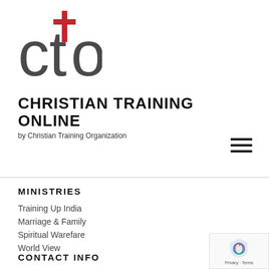[Figure (logo): CTO logo: large grey lowercase letters 'cto' with a red cross replacing the letter 't']
CHRISTIAN TRAINING ONLINE
by Christian Training Organization
[Figure (other): Hamburger menu icon: three horizontal black lines]
MINISTRIES
Training Up India
Marriage & Family
Spiritual Warefare
World View
CONTACT INFO
[Figure (other): Google reCAPTCHA badge with shield icon and 'Privacy · Terms' text]